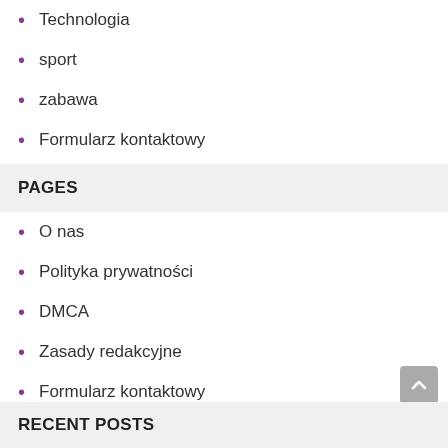Technologia
sport
zabawa
Formularz kontaktowy
PAGES
O nas
Polityka prywatności
DMCA
Zasady redakcyjne
Formularz kontaktowy
RECENT POSTS